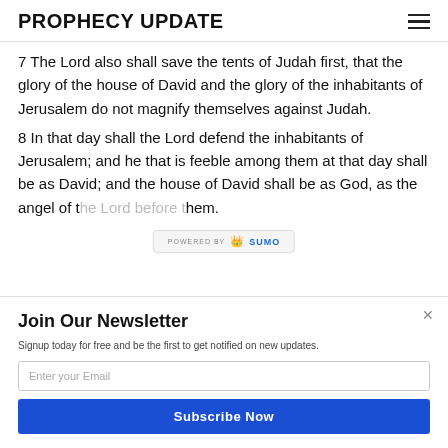PROPHECY UPDATE
7 The Lord also shall save the tents of Judah first, that the glory of the house of David and the glory of the inhabitants of Jerusalem do not magnify themselves against Judah.
8 In that day shall the Lord defend the inhabitants of Jerusalem; and he that is feeble among them at that day shall be as David; and the house of David shall be as God, as the angel of the Lord before them.
Join Our Newsletter
Signup today for free and be the first to get notified on new updates.
Enter your Email
Subscribe Now